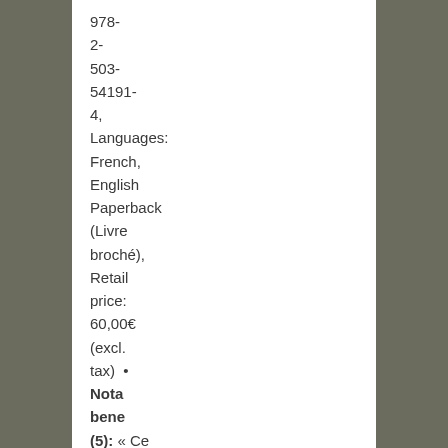978-2-503-54191-4, Languages: French, English Paperback (Livre broché), Retail price: 60,00€ (excl. tax)  •  Nota bene (5): « Ce recueil comprend dix-